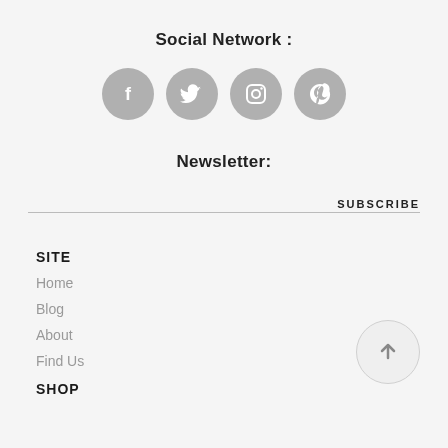Social Network :
[Figure (infographic): Four circular gray social media icons: Facebook, Twitter, Instagram, Pinterest]
Newsletter:
SUBSCRIBE
SITE
Home
Blog
About
Find Us
SHOP